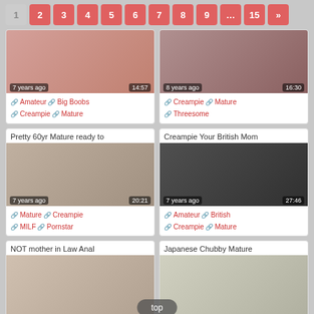Pagination: 1 2 3 4 5 6 7 8 9 ... 15 »
[Figure (photo): Adult video thumbnail with age label 7 years ago and duration 14:57]
Amateur  Big Boobs  Creampie  Mature
[Figure (photo): Adult video thumbnail with age label 8 years ago and duration 16:30]
Creampie  Mature  Threesome
Pretty 60yr Mature ready to
[Figure (photo): Adult video thumbnail woman on couch, 7 years ago, 20:21]
Mature  Creampie  MILF  Pornstar
Creampie Your British Mom
[Figure (photo): Adult video thumbnail dark scene, 7 years ago, 27:46]
Amateur  British  Creampie  Mature
NOT mother in Law Anal
[Figure (photo): Adult video thumbnail partial view]
Japanese Chubby Mature
[Figure (photo): Adult video thumbnail woman in suit on couch]